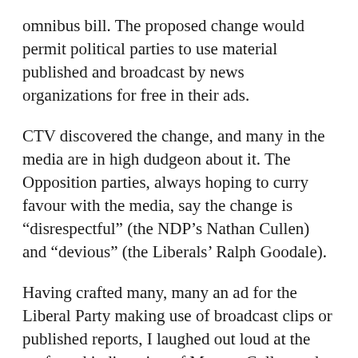omnibus bill. The proposed change would permit political parties to use material published and broadcast by news organizations for free in their ads.
CTV discovered the change, and many in the media are in high dudgeon about it. The Opposition parties, always hoping to curry favour with the media, say the change is “disrespectful” (the NDP’s Nathan Cullen) and “devious” (the Liberals’ Ralph Goodale).
Having crafted many, many an ad for the Liberal Party making use of broadcast clips or published reports, I laughed out loud at the professed indignation of Messrs. Cullen and Goodale. Both guys know that party operatives, of all stripes, have made use of media material in political advertising, f…